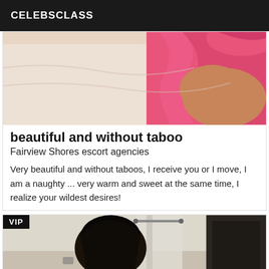CELEBSCLASS
[Figure (photo): Close-up photo of a person wearing a pink sleeveless top, lying on white bedding, showing bare skin and pink fabric.]
beautiful and without taboo
Fairview Shores escort agencies
Very beautiful and without taboos, I receive you or I move, I am a naughty ... very warm and sweet at the same time, I realize your wildest desires!
[Figure (photo): VIP-labeled photo showing a person with dark hair viewed from behind, in a room with curtains and dark door.]